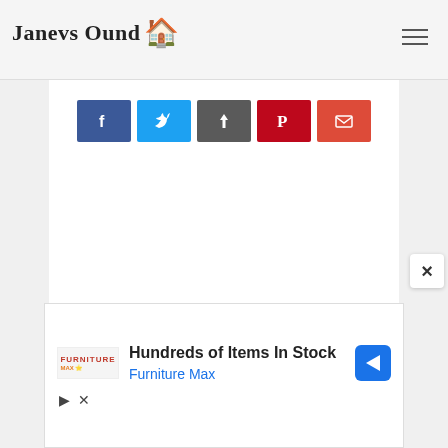Janevs Ound
[Figure (screenshot): Row of five social share buttons: Facebook (blue), Twitter (light blue), Share/upload (dark grey), Pinterest (red), and Email/mail (orange-red)]
[Figure (screenshot): White content area (blank) with a close X button in the bottom right corner]
[Figure (other): Advertisement banner: Furniture Max logo, text 'Hundreds of Items In Stock' and 'Furniture Max' in blue, with a navigation diamond icon. Below are play and close controls.]